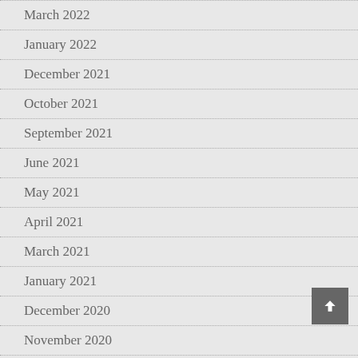March 2022
January 2022
December 2021
October 2021
September 2021
June 2021
May 2021
April 2021
March 2021
January 2021
December 2020
November 2020
October 2020
September 2020